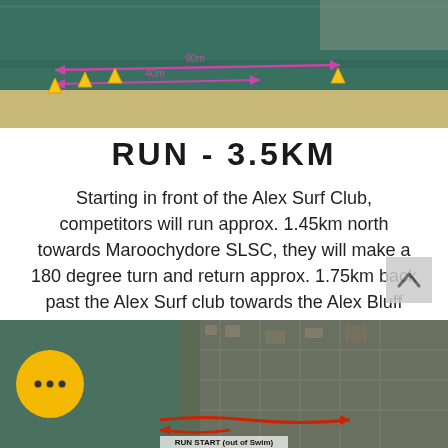[Figure (photo): Aerial satellite view of a beach/ocean area with swim course markers and distance annotations in pink/magenta arrows showing approximately 90m and 40m distances, with yellow triangle markers]
RUN - 3.5KM
Starting in front of the Alex Surf Club, competitors will run approx. 1.45km north towards Maroochydore SLSC, they will make a 180 degree turn and return approx. 1.75km back past the Alex Surf club towards the Alex Bluff before making one last 180 degree turn returning approx. 300m back to the finish line in front of Alex Surf Club.
[Figure (photo): Aerial satellite map of Alexandria Headland / Alex Surf Club area showing run course with red arrows and route markings, with 'RUN START (out of Swim)' label at bottom, yellow chat button overlay on left side]